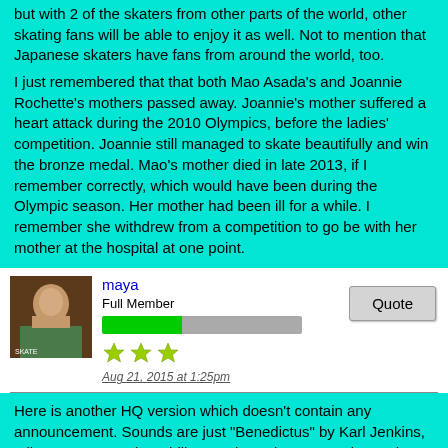but with 2 of the skaters from other parts of the world, other skating fans will be able to enjoy it as well. Not to mention that Japanese skaters have fans from around the world, too.
I just remembered that that both Mao Asada's and Joannie Rochette's mothers passed away. Joannie's mother suffered a heart attack during the 2010 Olympics, before the ladies' competition. Joannie still managed to skate beautifully and win the bronze medal. Mao's mother died in late 2013, if I remember correctly, which would have been during the Olympic season. Her mother had been ill for a while. I remember she withdrew from a competition to go be with her mother at the hospital at one point.
maya
Full Member
Aug 21, 2015 at 1:25pm
Here is another HQ version which doesn't contain any announcement. Sounds are just "Benedictus" by Karl Jenkins, Mike Brewer, London Philharmonic Orchestra, Hayley and National Youth Choir of Great Britain. According to a goer, a standing ovation was long lasting after 3 skaters finished the skating.